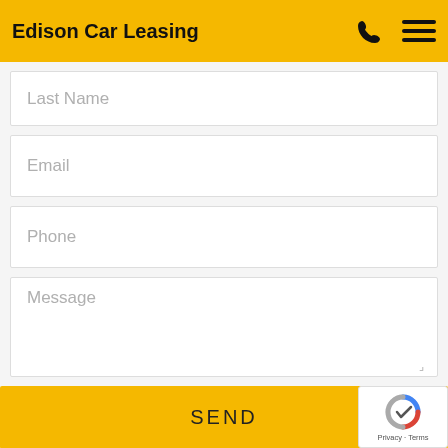Edison Car Leasing
Last Name
Email
Phone
Message
SEND
[Figure (logo): reCAPTCHA badge with Privacy and Terms text]